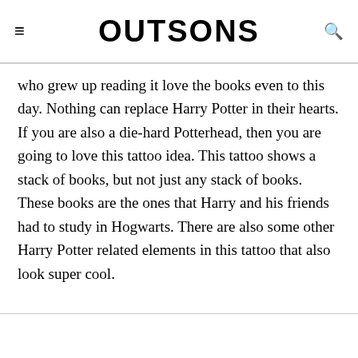OUTSONS
who grew up reading it love the books even to this day. Nothing can replace Harry Potter in their hearts. If you are also a die-hard Potterhead, then you are going to love this tattoo idea. This tattoo shows a stack of books, but not just any stack of books. These books are the ones that Harry and his friends had to study in Hogwarts. There are also some other Harry Potter related elements in this tattoo that also look super cool.